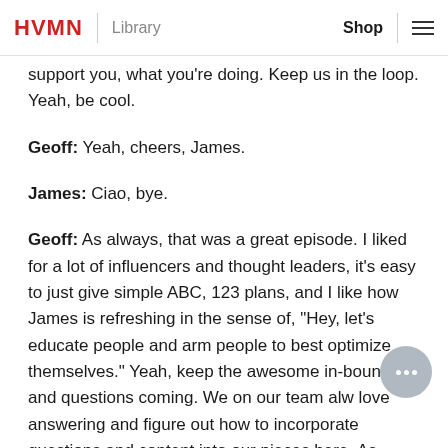HVMN | Library   Shop ≡
support you, what you're doing. Keep us in the loop. Yeah, be cool.
Geoff: Yeah, cheers, James.
James: Ciao, bye.
Geoff: As always, that was a great episode. I liked for a lot of influencers and thought leaders, it's easy to just give simple ABC, 123 plans, and I like how James is refreshing in the sense of, "Hey, let's educate people and arm people to best optimize themselves." Yeah, keep the awesome in-bounds and questions coming. We on our team alw love answering and figure out how to incorporate questions and content into our pieces here. As always, find us on Google Play, Android store, Apple iTunes